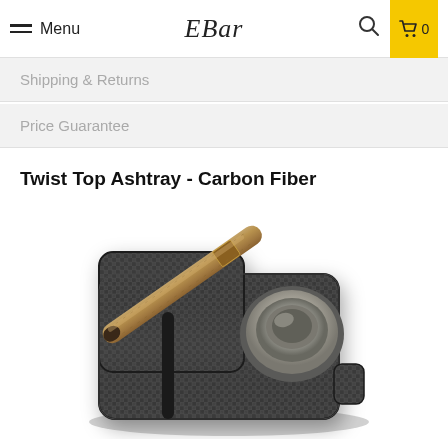Menu | EBar | 🔍 | 🛒 0
Shipping & Returns
Price Guarantee
Twist Top Ashtray - Carbon Fiber
[Figure (photo): A carbon fiber twist-top ashtray with a cigar resting diagonally across it. The ashtray has a black carbon fiber textured rectangular body with rounded corners and a circular silver metal bowl on the right side. A brown cigar is placed diagonally on top.]